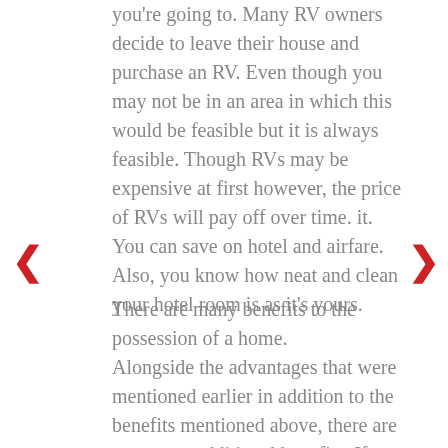you're going to. Many RV owners decide to leave their house and purchase an RV. Even though you may not be in an area in which this would be feasible but it is always feasible. Though RVs may be expensive at first however, the price of RVs will pay off over time. it. You can save on hotel and airfare. Also, you know how neat and clean your hotel room is as it's yours.
There are many benefits to the possession of a home. Alongside the advantages that were mentioned earlier in addition to the benefits mentioned above, there are numerous additional benefits. If you are a homeowner of an RV, it gives you the complete freedom and control at the all